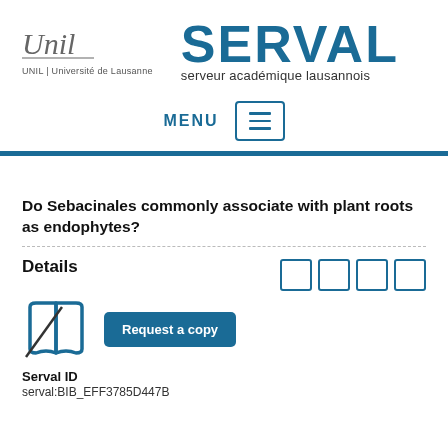[Figure (logo): UNIL Université de Lausanne logo with italic script and SERVAL serveur académique lausannois header]
[Figure (other): MENU navigation bar with hamburger icon]
Do Sebacinales commonly associate with plant roots as endophytes?
Details
[Figure (other): Book with cross icon and Request a copy button]
Serval ID
serval:BIB_EFF3785D447B